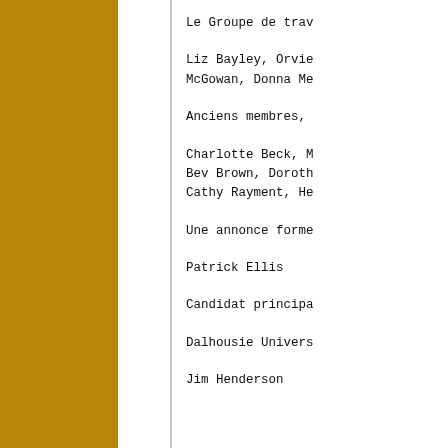Le Groupe de trav...
Liz Bayley, Orvie... McGowan, Donna Me...
Anciens membres,
Charlotte Beck, M... Bev Brown, Doroth... Cathy Rayment, He...
Une annonce forme...
Patrick Ellis
Candidat principa...
Dalhousie Univers...
Jim Henderson